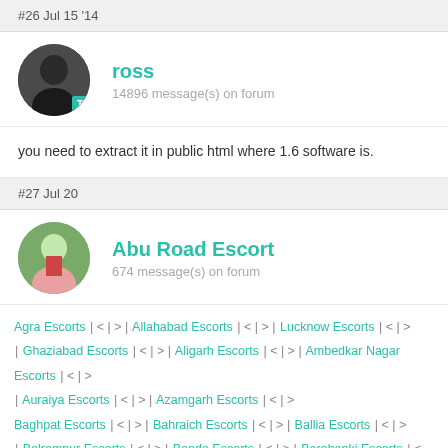#26 Jul 15 '14
ross
14896 message(s) on forum
you need to extract it in public html where 1.6 software is.
#27 Jul 20
Abu Road Escort
674 message(s) on forum
Agra Escorts | < | > | Allahabad Escorts | < | > | Lucknow Escorts | < | > | Ghaziabad Escorts | < | > | Aligarh Escorts | < | > | Ambedkar Nagar Escorts | < | > | Auraiya Escorts | < | > | Azamgarh Escorts | < | > | Baghpat Escorts | < | > | Bahraich Escorts | < | > | Ballia Escorts | < | > | Balrampur Escorts | < | > | Banda Escorts | < | > | Barabanki Escorts | < | > | Bareilly Escorts | < | > | Basti Escorts | < | > | Bijnor Escorts | < | >